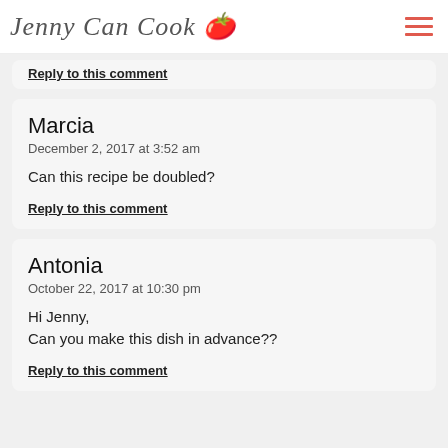Jenny Can Cook
Reply to this comment
Marcia
December 2, 2017 at 3:52 am

Can this recipe be doubled?

Reply to this comment
Antonia
October 22, 2017 at 10:30 pm

Hi Jenny,
Can you make this dish in advance??

Reply to this comment